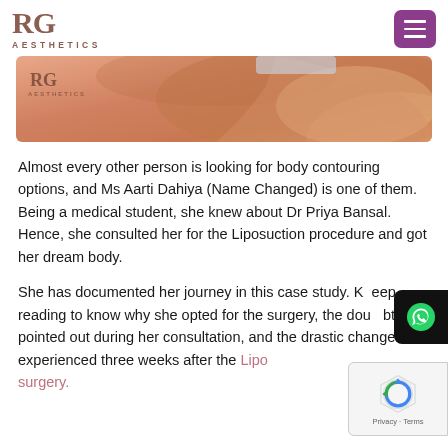RG AESTHETICS
[Figure (photo): Cropped photo of a person's lower body/hip area with peach/tan skin tones, with RG Aesthetics watermark logo in top-left corner]
Almost every other person is looking for body contouring options, and Ms Aarti Dahiya (Name Changed) is one of them. Being a medical student, she knew about Dr Priya Bansal. Hence, she consulted her for the Liposuction procedure and got her dream body.
She has documented her journey in this case study. Keep reading to know why she opted for the surgery, the doubts she pointed out during her consultation, and the drastic change she experienced three weeks after the Liposuction surgery.